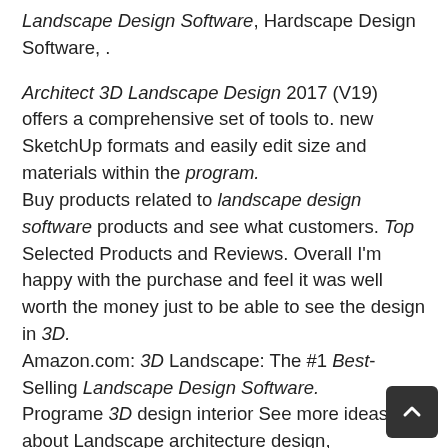Landscape Design Software, Hardscape Design Software, .
Architect 3D Landscape Design 2017 (V19) offers a comprehensive set of tools to. new SketchUp formats and easily edit size and materials within the program.
Buy products related to landscape design software products and see what customers. Top Selected Products and Reviews. Overall I'm happy with the purchase and feel it was well worth the money just to be able to see the design in 3D.
Amazon.com: 3D Landscape: The #1 Best-Selling Landscape Design Software.
Programe 3D design interior See more ideas about Landscape architecture design, Landscape design and Landscape design software.
Download 3D Landscape for Everyone for Windows now from Softonic: 100%. DreamPlan Home Design